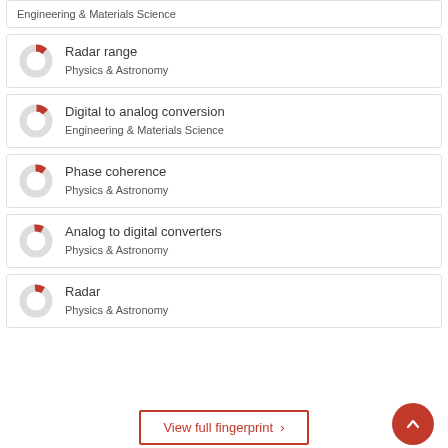Engineering & Materials Science
Radar range
Physics & Astronomy
Digital to analog conversion
Engineering & Materials Science
Phase coherence
Physics & Astronomy
Analog to digital converters
Physics & Astronomy
Radar
Physics & Astronomy
View full fingerprint ›